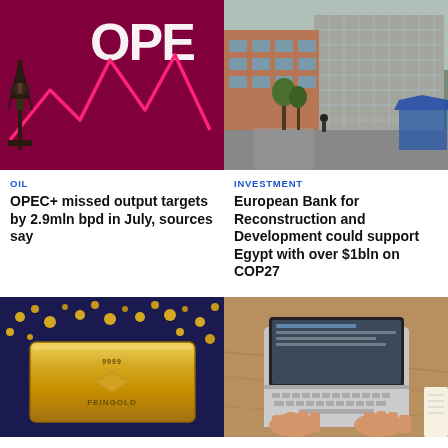[Figure (photo): Oil pump jack silhouette against magenta/red background with OPEC logo and downward zigzag chart line]
[Figure (photo): Urban street scene with modern glass and brick office buildings, pedestrians on a path]
OIL
OPEC+ missed output targets by 2.9mln bpd in July, sources say
INVESTMENT
European Bank for Reconstruction and Development could support Egypt with over $1bln on COP27
[Figure (photo): Gold bar with 9999 FEINGOLD engraving surrounded by gold nuggets on dark blue background]
[Figure (photo): Person's hands typing on a laptop keyboard at a wooden desk]